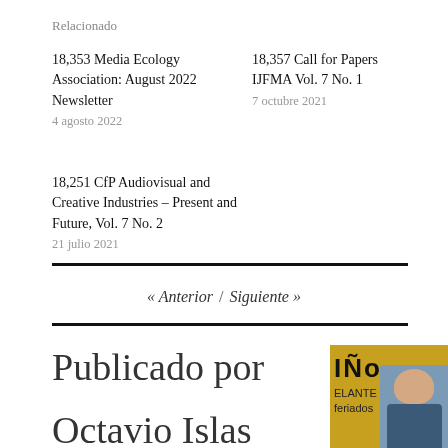Relacionado
18,353 Media Ecology Association: August 2022 Newsletter
4 agosto 2022
18,357 Call for Papers IJFMA Vol. 7 No. 1
7 octubre 2021
18,251 CfP Audiovisual and Creative Industries – Present and Future, Vol. 7 No. 2
21 julio 2021
« Anterior / Siguiente »
Publicado por
Octavio Islas
[Figure (photo): Author photo showing a man with glasses in front of a yellow background with text 'ELANTE feriados']